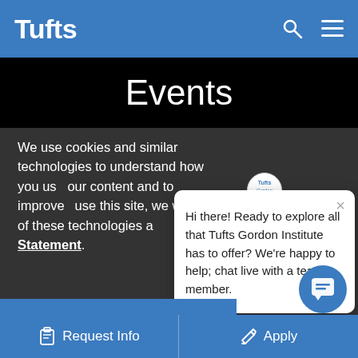Tufts
Events
We use cookies and similar technologies to understand how you use our content and to improve your experience. If you continue to use this site, we will assume that you are okay with our use of these technologies as described in our Privacy Statement.
[Figure (screenshot): Chat popup from Tufts Gordon Institute with close button and message: Hi there! Ready to explore all that Tufts Gordon Institute has to offer? We're happy to help; chat live with a team member.]
Accept and Continue
Request Info   Apply